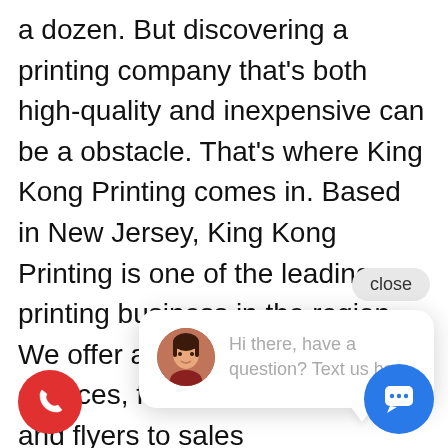a dozen. But discovering a printing company that’s both high-quality and inexpensive can be a obstacle. That’s where King Kong Printing comes in. Based in New Jersey, King Kong Printing is one of the leading printing business in the region. We offer a large range of services, from business cards and flyers to sales brochures a... are extreme... in the marke... printing business that can help you gro... business, King Kong Printing is a i... option. Contact us today to read more
[Figure (screenshot): Close button UI element (pill-shaped button with label 'close')]
[Figure (screenshot): Chat popup with avatar photo of woman and text 'Hi there, have a question? Text us here.']
[Figure (screenshot): Red circular phone call button at bottom left]
[Figure (screenshot): Blue circular chat button at bottom right with chat bubble icon]